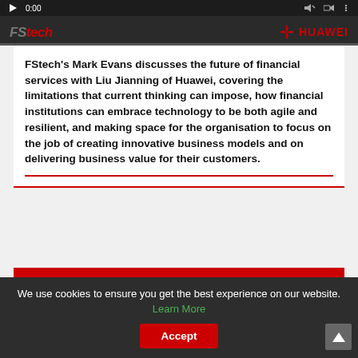[Figure (screenshot): Video player bar showing FStech and HUAWEI logos with 0:00 timestamp and progress bar]
FStech's Mark Evans discusses the future of financial services with Liu Jianning of Huawei, covering the limitations that current thinking can impose, how financial institutions can embrace technology to be both agile and resilient, and making space for the organisation to focus on the job of creating innovative business models and on delivering business value for their customers.
POPULAR
RECENT
We use cookies to ensure you get the best experience on our website. Learn More  Accept